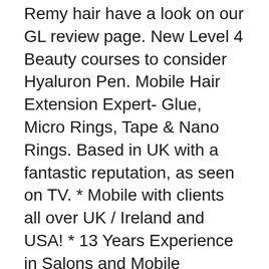Remy hair have a look on our GL review page. New Level 4 Beauty courses to consider Hyaluron Pen. Mobile Hair Extension Expert- Glue, Micro Rings, Tape & Nano Rings. Based in UK with a fantastic reputation, as seen on TV. * Mobile with clients all over UK / Ireland and USA! * 13 Years Experience in Salons and Mobile
Everyone who sees my hair asks where I have it done and no one even suspects I have extensions. She is a genius in matching texture and color and both Gina and Gilles have a special artistic talent when it comes to styling. I recommend Glam Extensions Salon to anyone who wants professional, caring,